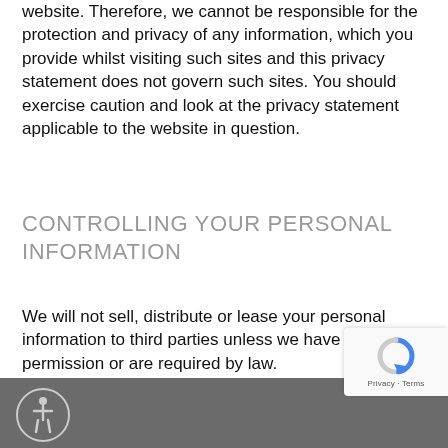website. Therefore, we cannot be responsible for the protection and privacy of any information, which you provide whilst visiting such sites and this privacy statement does not govern such sites. You should exercise caution and look at the privacy statement applicable to the website in question.
CONTROLLING YOUR PERSONAL INFORMATION
We will not sell, distribute or lease your personal information to third parties unless we have your permission or are required by law.
If you have any questions on this Privacy Policy, please email us at support@resident360.com.
[Figure (other): Footer bar with accessibility icon (person in circle) on dark grey background, and a reCAPTCHA badge in bottom-right corner.]